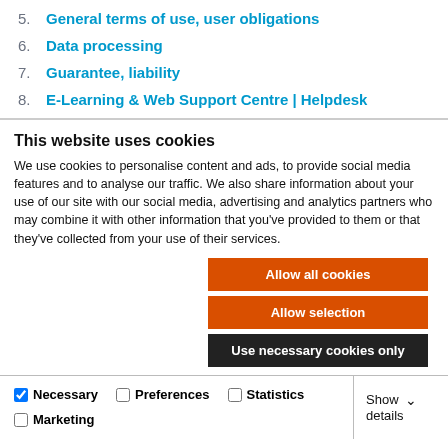5. General terms of use, user obligations
6. Data processing
7. Guarantee, liability
8. E-Learning & Web Support Centre | Helpdesk
This website uses cookies
We use cookies to personalise content and ads, to provide social media features and to analyse our traffic. We also share information about your use of our site with our social media, advertising and analytics partners who may combine it with other information that you've provided to them or that they've collected from your use of their services.
Allow all cookies
Allow selection
Use necessary cookies only
Necessary  Preferences  Statistics  Marketing  Show details